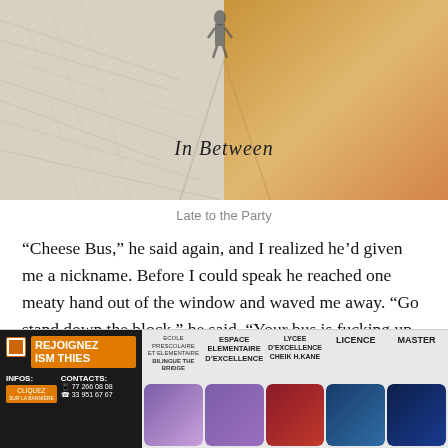[Figure (photo): Book cover or album art titled 'In Between' showing two people walking on a road, with a split effect: left side is pencil sketch style in gray, right side is colorful warm tones (orange/tan). The text 'In Between' appears in italic serif font over the image.]
Late to the Party
“Cheese Bus,” he said again, and I realized he’d given me a nickname. Before I could speak he reached one meaty hand out of the window and waved me away. “Go stand down the block,” he said. “Your bus is fucking up my vibe.”
“You don’t own the sidewalk,” I said. Citing basic
[Figure (infographic): Advertisement banner for ISM Thies school. Black left panel with orange 'REJOIGNEZ ISM THIES' text block, INFOS and CONTACTS sections with phone numbers 77 266 08 08 and 33 951 67 67. Right panel has gray background with column headers: ECOLE PRESCOLAIRE ET ELEMENTAIRE BILINGUE THE BRIDGE, ESPACE ELEMENTAIRE D'EXCELLENCE, LYCEE D'EXCELLENCE CHEIK H.KANE, LICENCE, MASTER. Below are 5 photos of students in school settings.]